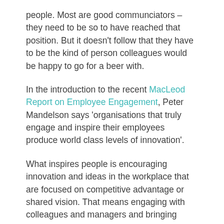people. Most are good communciators – they need to be so to have reached that position. But it doesn't follow that they have to be the kind of person colleagues would be happy to go for a beer with.
In the introduction to the recent MacLeod Report on Employee Engagement, Peter Mandelson says 'organisations that truly engage and inspire their employees produce world class levels of innovation'.
What inspires people is encouraging innovation and ideas in the workplace that are focused on competitive advantage or shared vision. That means engaging with colleagues and managers and bringing them along with you on a journey, communicating honestly and clearly.
And also building on something that has often been...